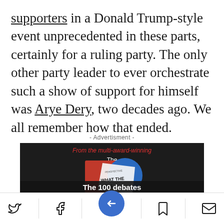supporters in a Donald Trump-style event unprecedented in these parts, certainly for a ruling party. The only other party leader to ever orchestrate such a show of support for himself was Arye Dery, two decades ago. We all remember how that ended.
- Advertisment -
[Figure (other): Advertisement banner for 'The Perspective' publication showing a book cover with text 'WHAT THE HELL' and tagline 'The 100 debates that go your life.' on dark background with red promotional text 'From the multi-award-winning']
Social share bar with Twitter, Facebook, bookmark, email icons and a central blue navigation button